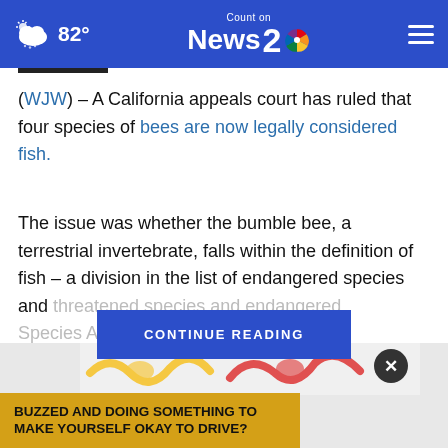82° Count on News 2 NBC
(WJW) – A California appeals court has ruled that four species of bees are now legally considered fish.
The issue was whether the bumble bee, a terrestrial invertebrate, falls within the definition of fish – a division in the list of endangered species and threatened spe[cies under the California Endangered Species Act].
CONTINUE READING
[Figure (screenshot): Advertisement banner showing bee illustration with text 'BUZZED AND DOING SOMETHING TO MAKE YOURSELF OKAY TO DRIVE?']
BUZZED AND DOING SOMETHING TO MAKE YOURSELF OKAY TO DRIVE?